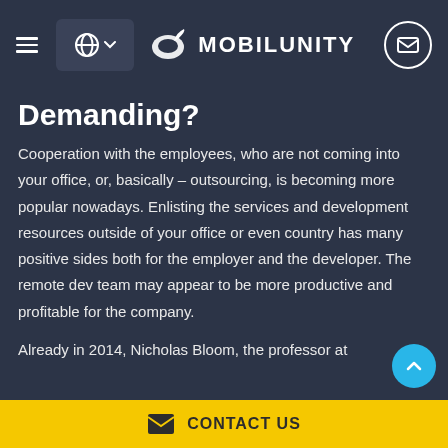MOBILUNITY
Demanding?
Cooperation with the employees, who are not coming into your office, or, basically – outsourcing, is becoming more popular nowadays. Enlisting the services and development resources outside of your office or even country has many positive sides both for the employer and the developer. The remote dev team may appear to be more productive and profitable for the company.
Already in 2014, Nicholas Bloom, the professor at
CONTACT US